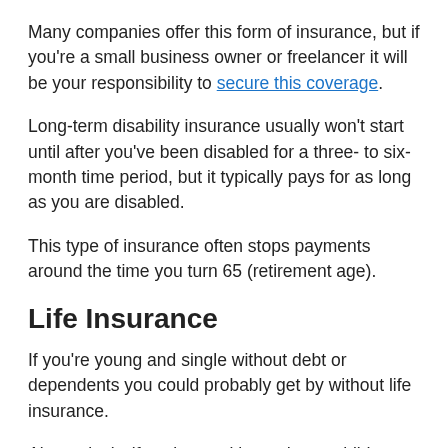Many companies offer this form of insurance, but if you're a small business owner or freelancer it will be your responsibility to secure this coverage.
Long-term disability insurance usually won't start until after you've been disabled for a three- to six-month time period, but it typically pays for as long as you are disabled.
This type of insurance often stops payments around the time you turn 65 (retirement age).
Life Insurance
If you're young and single without debt or dependents you could probably get by without life insurance.
Alternatively, if you're wealthy and your children are grown you may elect to take a pass too. But if you have